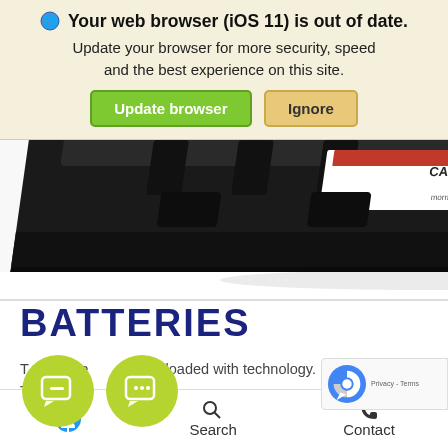Your web browser (iOS 11) is out of date. Update your browser for more security, speed and the best experience on this site.
Update browser | Ignore
[Figure (photo): Close-up product photo of a car battery (Morrie's, 130 RC) shown from above at an angle, black casing with red/white label visible]
BATTERIES
T ve are loaded with technology. That's more important than ever to ensure your battery operates at peak performance. At Morrie's Buffalo
Accessibility  Search  Contact